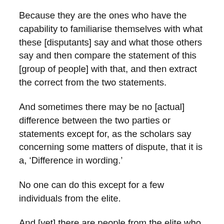Because they are the ones who have the capability to familiarise themselves with what these [disputants] say and what those others say and then compare the statement of this [group of people] with that, and then extract the correct from the two statements.
And sometimes there may be no [actual] difference between the two parties or statements except for, as the scholars say concerning some matters of dispute, that it is a, ‘Difference in wording.’
No one can do this except for a few individuals from the elite.
And [yet] there are people from the elite who cannot judge with justice–he knows where the truth is concerning the two parties, [he knows] whether there is a difference between them or not, [but still even] if there is a difference